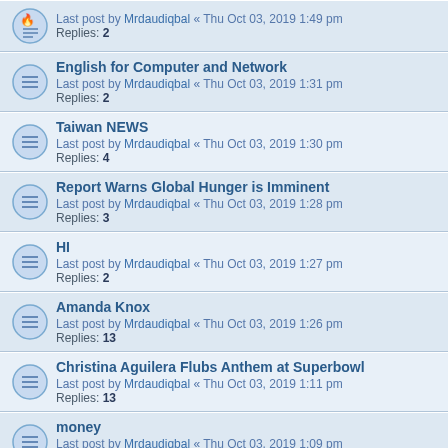Last post by Mrdaudiqbal « Thu Oct 03, 2019 1:49 pm
Replies: 2
English for Computer and Network
Last post by Mrdaudiqbal « Thu Oct 03, 2019 1:31 pm
Replies: 2
Taiwan NEWS
Last post by Mrdaudiqbal « Thu Oct 03, 2019 1:30 pm
Replies: 4
Report Warns Global Hunger is Imminent
Last post by Mrdaudiqbal « Thu Oct 03, 2019 1:28 pm
Replies: 3
HI
Last post by Mrdaudiqbal « Thu Oct 03, 2019 1:27 pm
Replies: 2
Amanda Knox
Last post by Mrdaudiqbal « Thu Oct 03, 2019 1:26 pm
Replies: 13
Christina Aguilera Flubs Anthem at Superbowl
Last post by Mrdaudiqbal « Thu Oct 03, 2019 1:11 pm
Replies: 13
money
Last post by Mrdaudiqbal « Thu Oct 03, 2019 1:09 pm
Replies: 5
The weather
Last post by Mrdaudiqbal « Thu Oct 03, 2019 1:08 pm
Replies: 4
lady of the stars
Last post by Mrdaudiqbal « Wed Oct 02, 2019 1:46 pm